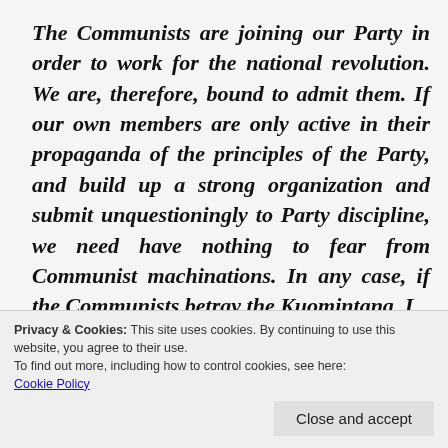The Communists are joining our Party in order to work for the national revolution. We are, therefore, bound to admit them. If our own members are only active in their propaganda of the principles of the Party, and build up a strong organization and submit unquestioningly to Party discipline, we need have nothing to fear from Communist machinations. In any case, if the Communists betray the Kuomintang, I will be the first to act on their...
Privacy & Cookies: This site uses cookies. By continuing to use this website, you agree to their use.
To find out more, including how to control cookies, see here: Cookie Policy
Close and accept